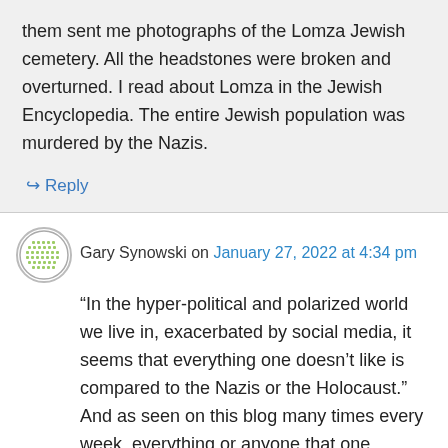them sent me photographs of the Lomza Jewish cemetery. All the headstones were broken and overturned. I read about Lomza in the Jewish Encyclopedia. The entire Jewish population was murdered by the Nazis.
↳ Reply
Gary Synowski on January 27, 2022 at 4:34 pm
“In the hyper-political and polarized world we live in, exacerbated by social media, it seems that everything one doesn’t like is compared to the Nazis or the Holocaust.” And as seen on this blog many times every week, everything or anyone that one doesn’t like